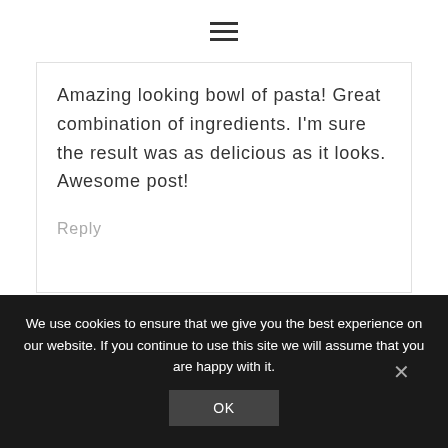≡ (hamburger menu icon)
Amazing looking bowl of pasta! Great combination of ingredients. I'm sure the result was as delicious as it looks. Awesome post!
Reply
We use cookies to ensure that we give you the best experience on our website. If you continue to use this site we will assume that you are happy with it.
OK